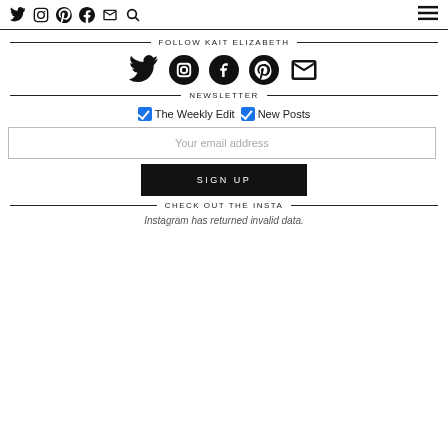Twitter Instagram Pinterest Facebook Email Search | Menu
FOLLOW KAIT ELIZABETH
[Figure (infographic): Social media icons: Twitter, Instagram, Facebook, Pinterest, Email]
NEWSLETTER
☑ The Weekly Edit ☑ New Posts
Your email address
SIGN UP
CHECK OUT THE INSTA
Instagram has returned invalid data.